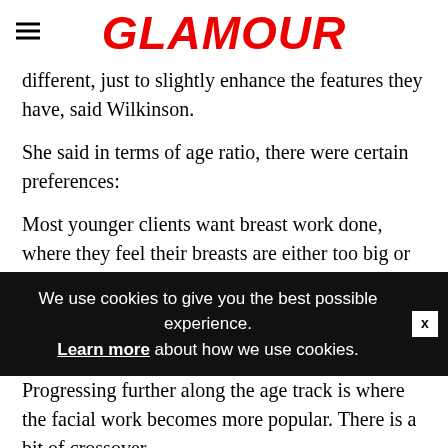GLAMOUR
different, just to slightly enhance the features they have, said Wilkinson.
She said in terms of age ratio, there were certain preferences:
Most younger clients want breast work done, where they feel their breasts are either too big or too small.
This is followed by mommy makeover, where moms just want to get back to the bodies they had before having babies. No unrealistic celeb-look ambitions, but more in line with lifting or adding volume to the breast, a tummy tuck, or
We use cookies to give you the best possible experience. Learn more about how we use cookies.
Progressing further along the age track is where the facial work becomes more popular. There is a bit of crossover,